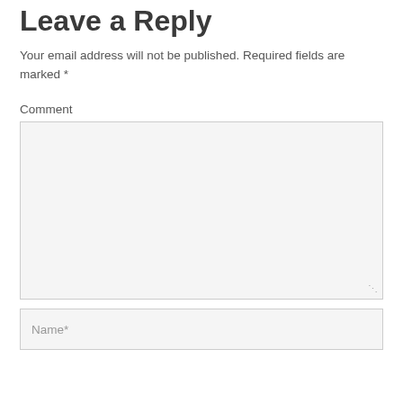Leave a Reply
Your email address will not be published. Required fields are marked *
Comment
[Figure (other): Large empty comment textarea input box with light grey background and resize handle]
[Figure (other): Name input field with placeholder text 'Name*']